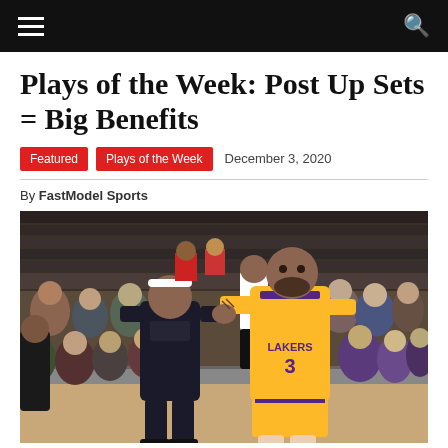Navigation bar with hamburger menu and search icon
Plays of the Week: Post Up Sets = Big Benefits
Featured   Plays of the Week   December 3, 2020
By FastModel Sports
[Figure (photo): NBA basketball game photo showing a Lakers player wearing jersey number 3 in yellow uniform posting up against a defender in a dark uniform, with a crowd and referee visible in the background.]